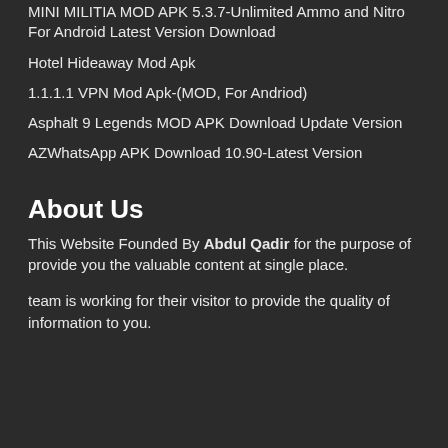MINI MILITIA MOD APK 5.3.7-Unlimited Ammo and Nitro For Android Latest Version Download
Hotel Hideaway Mod Apk
1.1.1.1 VPN Mod Apk-(MOD, For Andriod)
Asphalt 9 Legends MOD APK Download Update Version
AZWhatsApp APK Download 10.90-Latest Version
About Us
This Website Founded By Abdul Qadir for the purpose of provide you the valuable content at single place.
team is working for their visitor to provide the quality of information to you.